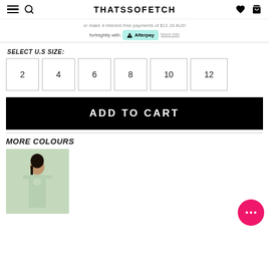THATSSOFETCH
or make 4 interest-free payments of $11.10 AUD fortnightly with Afterpay More info
SELECT U.S SIZE:
2
4
6
8
10
12
ADD TO CART
MORE COLOURS
[Figure (photo): Model wearing a sage green cut-out long sleeve co-ord set against a white curtain background]